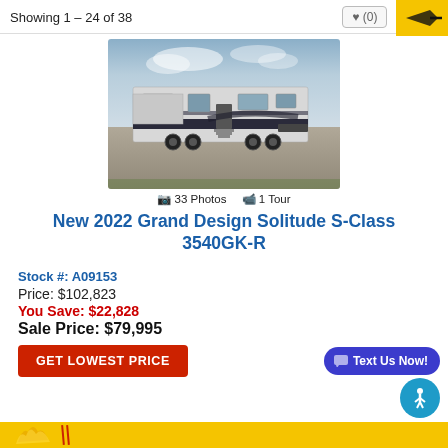Showing 1 – 24 of 38
[Figure (photo): RV / fifth-wheel trailer (Grand Design Solitude S-Class) parked on pavement with cloudy sky background]
📷 33 Photos  🎥 1 Tour
New 2022 Grand Design Solitude S-Class 3540GK-R
Stock #: A09153
Price: $102,823
You Save: $22,828
Sale Price: $79,995
GET LOWEST PRICE
Text Us Now!